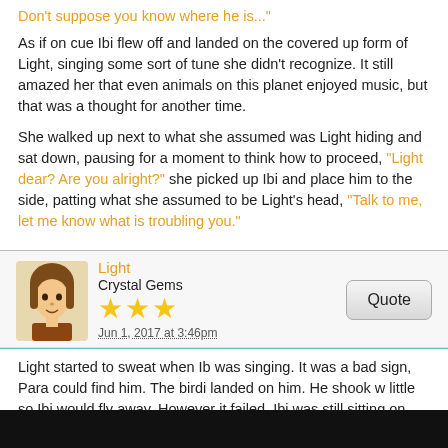Don't suppose you know where he is..."
As if on cue Ibi flew off and landed on the covered up form of Light, singing some sort of tune she didn't recognize. It still amazed her that even animals on this planet enjoyed music, but that was a thought for another time.
She walked up next to what she assumed was Light hiding and sat down, pausing for a moment to think how to proceed, "Light dear? Are you alright?" she picked up Ibi and place him to the side, patting what she assumed to be Light's head, "Talk to me, let me know what is troubling you."
Light
Crystal Gems
Jun 1, 2017 at 3:46pm
Light started to sweat when Ib was singing. It was a bad sign, Para could find him. The birdi landed on him. He shook w little so Ibi would fly away. However it failed, Ibi was still sitting on him. "Ibi... not now."
Suddenly he felt like something was touching him, it was Para's hand. He didn't want to talk with her after what he did "I am fine..."